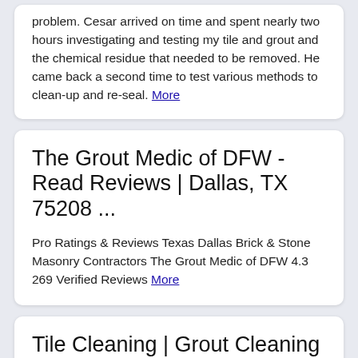problem. Cesar arrived on time and spent nearly two hours investigating and testing my tile and grout and the chemical residue that needed to be removed. He came back a second time to test various methods to clean-up and re-seal. More
The Grout Medic of DFW - Read Reviews | Dallas, TX 75208 ...
Pro Ratings & Reviews Texas Dallas Brick & Stone Masonry Contractors The Grout Medic of DFW 4.3 269 Verified Reviews More
Tile Cleaning | Grout Cleaning Company | The Grout Medic
The Grout Medic has established itself as one of the